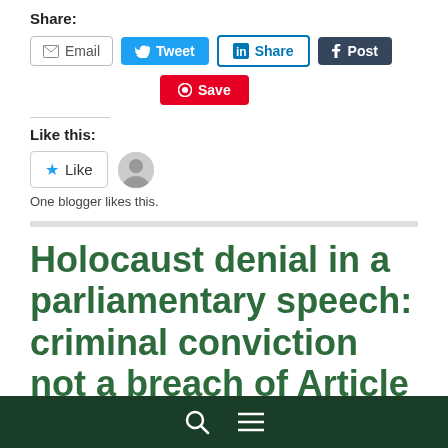Share:
[Figure (screenshot): Social share buttons: Email, Tweet, Share (LinkedIn), Post (Tumblr)]
[Figure (screenshot): Pinterest Save button]
Like this:
[Figure (screenshot): Like button with star icon and blogger avatar]
One blogger likes this.
Holocaust denial in a parliamentary speech: criminal conviction not a breach of Article 10
[Figure (screenshot): Dark green bottom navigation bar with search and menu icons]